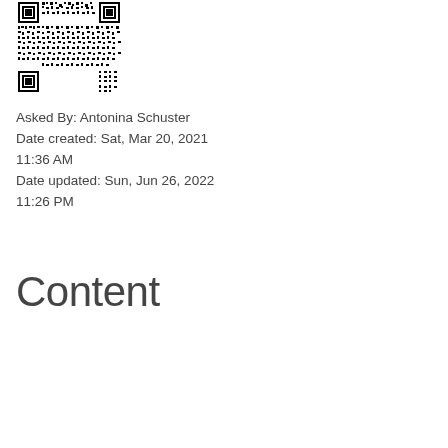[Figure (other): QR code image in upper left area of page]
Asked By: Antonina Schuster
Date created: Sat, Mar 20, 2021 11:36 AM
Date updated: Sun, Jun 26, 2022 11:26 PM
Content